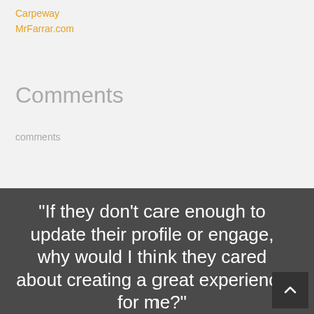Carpeway
MrFarrar.com
Comments
comments
"If they don't care enough to update their profile or engage, why would I think they cared about creating a great experience for me?"